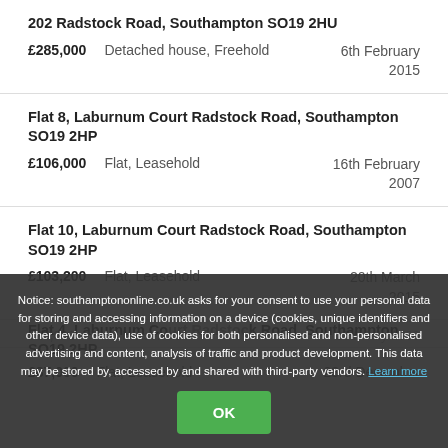202 Radstock Road, Southampton SO19 2HU
£285,000   Detached house, Freehold   6th February 2015
Flat 8, Laburnum Court Radstock Road, Southampton SO19 2HP
£106,000   Flat, Leasehold   16th February 2007
Flat 10, Laburnum Court Radstock Road, Southampton SO19 2HP
£103,200   Flat, Leasehold   20th March 2015
Notice: southamptononline.co.uk asks for your consent to use your personal data for storing and accessing information on a device (cookies, unique identifiers and other device data), use of cookies for both personalised and non-personalised advertising and content, analysis of traffic and product development. This data may be stored by, accessed by and shared with third-party vendors. Learn more
Flat 4, Laburnum Court Radstock Road, Southampton SO19 2HP
£87,000   Flat, Leasehold   23rd December